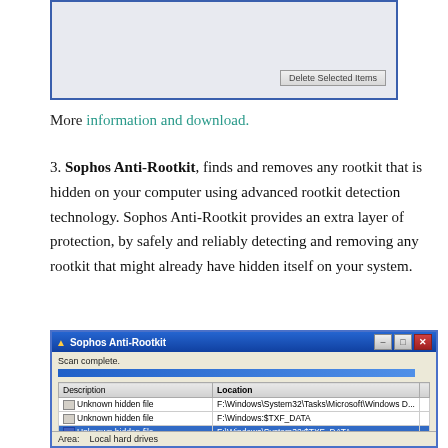[Figure (screenshot): Top portion of a software UI window showing a 'Delete Selected Items' button]
More information and download.
3. Sophos Anti-Rootkit, finds and removes any rootkit that is hidden on your computer using advanced rootkit detection technology. Sophos Anti-Rootkit provides an extra layer of protection, by safely and reliably detecting and removing any rootkit that might already have hidden itself on your system.
[Figure (screenshot): Sophos Anti-Rootkit application window showing scan complete screen with a list of Unknown hidden files at various F:\Windows paths and an Area field showing Local hard drives]